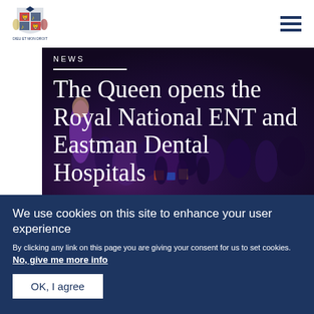[Figure (logo): Royal coat of arms logo in blue and gold]
[Figure (photo): Photo of a crowd of people at a hospital event, dark/blurred background with figure in purple visible]
NEWS
The Queen opens the Royal National ENT and Eastman Dental Hospitals
We use cookies on this site to enhance your user experience
By clicking any link on this page you are giving your consent for us to set cookies. No, give me more info
OK, I agree